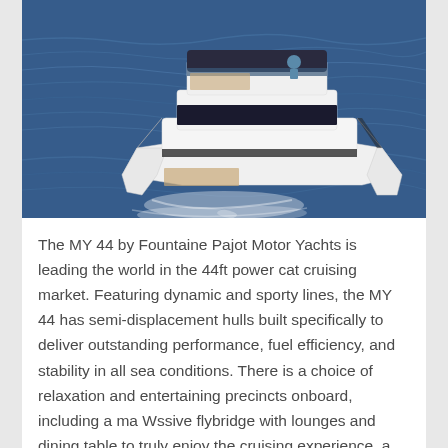[Figure (photo): Aerial view of the Fountaine Pajot MY 44 motor yacht, a white catamaran with a dark flybridge canopy, cruising on blue water leaving a wake, shot from above and slightly behind]
The MY 44 by Fountaine Pajot Motor Yachts is leading the world in the 44ft power cat cruising market. Featuring dynamic and sporty lines, the MY 44 has semi-displacement hulls built specifically to deliver outstanding performance, fuel efficiency, and stability in all sea conditions. There is a choice of relaxation and entertaining precincts onboard, including a ma Wssive flybridge with lounges and dining table to truly enjoy the cruising experience, a capacious